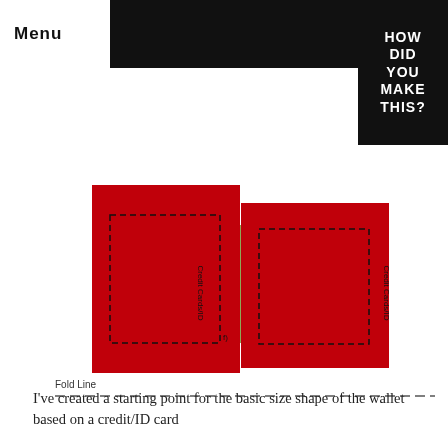Menu
[Figure (illustration): Wallet template diagram showing two red rectangles representing credit card/ID pockets with dashed stitch lines, connected by a green center strip. A horizontal dashed fold line runs below the diagram labeled 'Fold Line'.]
I've created a starting point for the basic size shape of the wallet based on a credit/ID card